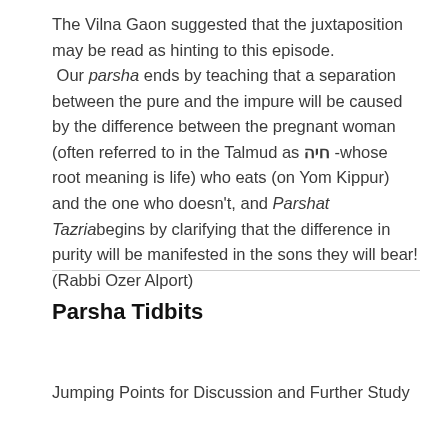The Vilna Gaon suggested that the juxtaposition may be read as hinting to this episode. Our parsha ends by teaching that a separation between the pure and the impure will be caused by the difference between the pregnant woman (often referred to in the Talmud as חיה -whose root meaning is life) who eats (on Yom Kippur) and the one who doesn't, and Parshat Tazria begins by clarifying that the difference in purity will be manifested in the sons they will bear! (Rabbi Ozer Alport)
Parsha Tidbits
Jumping Points for Discussion and Further Study